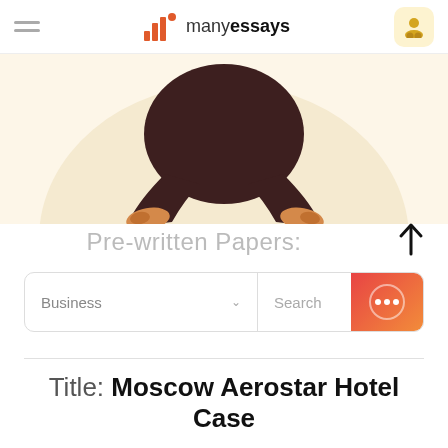manyessays
[Figure (illustration): Person sitting cross-legged on a light cream/beige circular background, wearing dark brown clothing and tan shoes, viewed from below the waist]
Pre-written Papers:
Business  Search
Title: Moscow Aerostar Hotel Case